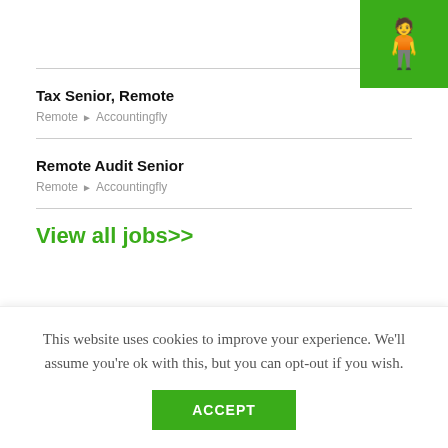[Figure (logo): Green square logo with white stylized person/accessibility icon]
Tax Senior, Remote
Remote • Accountingfly
Remote Audit Senior
Remote • Accountingfly
View all jobs>>
This website uses cookies to improve your experience. We'll assume you're ok with this, but you can opt-out if you wish.
ACCEPT